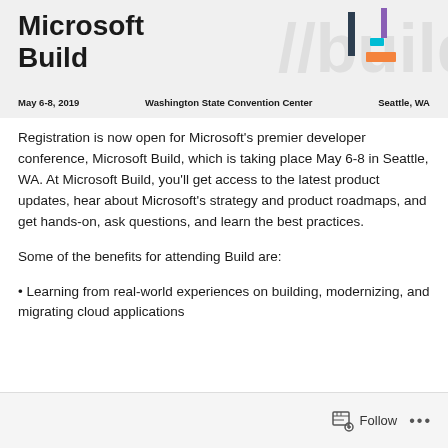[Figure (illustration): Microsoft Build conference banner with title 'Microsoft Build', date 'May 6-8, 2019', location 'Washington State Convention Center, Seattle, WA', and decorative 3D geometric shapes on the right side]
Registration is now open for Microsoft's premier developer conference, Microsoft Build, which is taking place May 6-8 in Seattle, WA. At Microsoft Build, you'll get access to the latest product updates, hear about Microsoft's strategy and product roadmaps, and get hands-on, ask questions, and learn the best practices.
Some of the benefits for attending Build are:
• Learning from real-world experiences on building, modernizing, and migrating cloud applications
Follow  •••